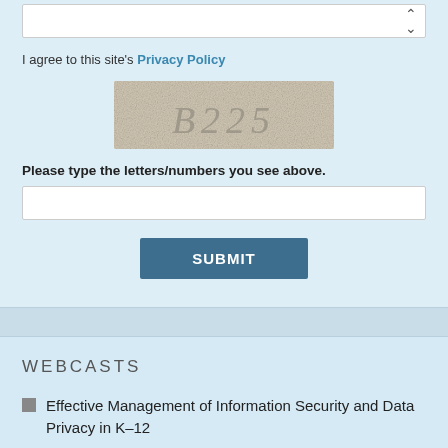I agree to this site's Privacy Policy
[Figure (other): CAPTCHA image showing the letters/numbers B225 on a noisy beige background]
Please type the letters/numbers you see above.
SUBMIT
WEBCASTS
Effective Management of Information Security and Data Privacy in K–12